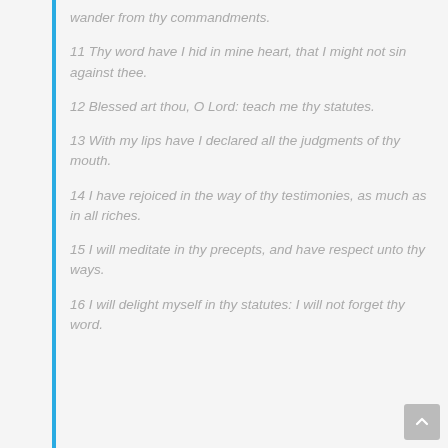wander from thy commandments.
11 Thy word have I hid in mine heart, that I might not sin against thee.
12 Blessed art thou, O Lord: teach me thy statutes.
13 With my lips have I declared all the judgments of thy mouth.
14 I have rejoiced in the way of thy testimonies, as much as in all riches.
15 I will meditate in thy precepts, and have respect unto thy ways.
16 I will delight myself in thy statutes: I will not forget thy word.